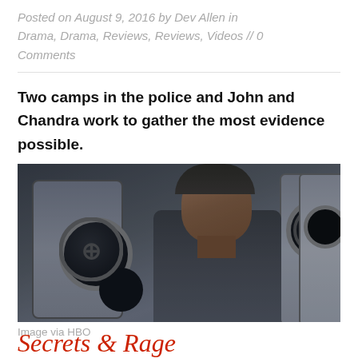Posted on August 9, 2016 by Dev Allen in Drama, Drama, Reviews, Reviews, Videos // 0 Comments
Two camps in the police and John and Chandra work to gather the most evidence possible.
[Figure (photo): A man standing in front of washing machines in a laundromat, dark moody scene, appears to be a still from an HBO drama series.]
Image via HBO
Secrets & Rage